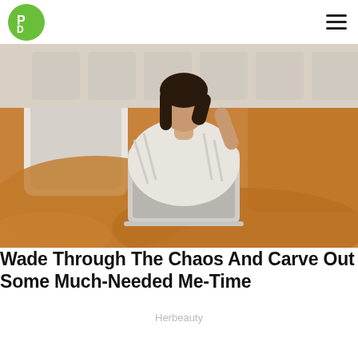PD logo and hamburger menu
[Figure (photo): Woman lying in bed with orange/mustard duvet, using an Apple MacBook laptop, wearing a white striped sweater, dark hair, leaning against white pillows]
Wade Through The Chaos And Carve Out Some Much-Needed Me-Time
Herbeauty